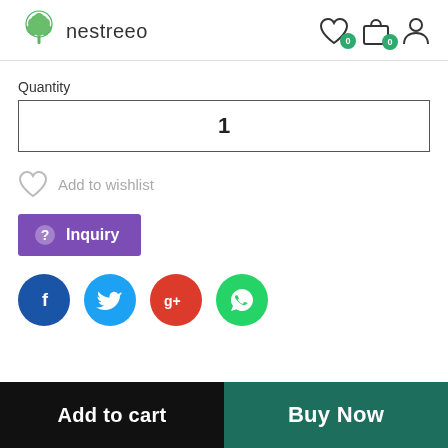[Figure (logo): Nestreeo logo with green tree icon and text 'nestreeo']
Quantity
1
Add to wishlist
Inquiry
[Figure (infographic): Social sharing icons: Facebook (blue circle with f), Twitter (light blue circle with bird), Google+ (red circle with g+), WhatsApp (green circle with phone)]
Add to cart
Buy Now